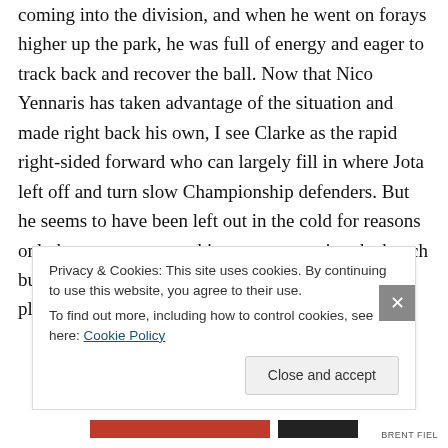coming into the division, and when he went on forays higher up the park, he was full of energy and eager to track back and recover the ball. Now that Nico Yennaris has taken advantage of the situation and made right back his own, I see Clarke as the rapid right-sided forward who can largely fill in where Jota left off and turn slow Championship defenders. But he seems to have been left out in the cold for reasons only known to our coaching team, warming the bench but not making an appearance. Other attacking players
Privacy & Cookies: This site uses cookies. By continuing to use this website, you agree to their use.
To find out more, including how to control cookies, see here: Cookie Policy
Close and accept